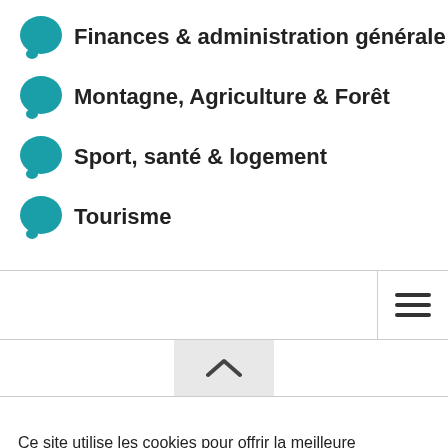Finances & administration générale
Montagne, Agriculture & Forêt
Sport, santé & logement
Tourisme
[Figure (screenshot): Navigation bar with hamburger menu icon on right]
[Figure (screenshot): Chevron/up arrow button centered in a light grey box]
Ce site utilise les cookies pour offrir la meilleure expérience de navigation possible. Si vous acceptez l'utilisation des cookies, veuillez cliquer sur l'option « Accepter »
Paramétrer les cookies  Accepter  Rejeter  Politique de confi…